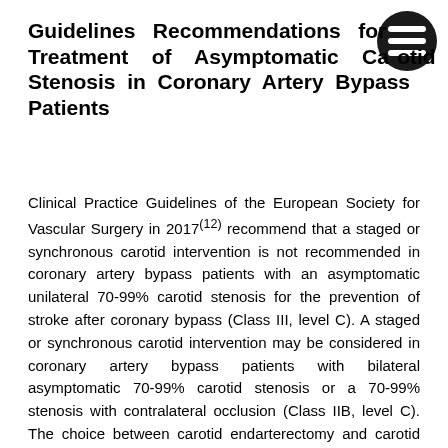Guidelines Recommendations for Treatment of Asymptomatic Carotid Stenosis in Coronary Artery Bypass Patients
Clinical Practice Guidelines of the European Society for Vascular Surgery in 2017(12) recommend that a staged or synchronous carotid intervention is not recommended in coronary artery bypass patients with an asymptomatic unilateral 70-99% carotid stenosis for the prevention of stroke after coronary bypass (Class III, level C). A staged or synchronous carotid intervention may be considered in coronary artery bypass patients with bilateral asymptomatic 70-99% carotid stenosis or a 70-99% stenosis with contralateral occlusion (Class IIB, level C). The choice between carotid endarterectomy and carotid stenting in whom a carotid intervention is deemed necessary prior to CABG should be based on the urgency of performing surgery, choice of antiplatelet strategy during CABG, individual patient characteristics, symptoms and